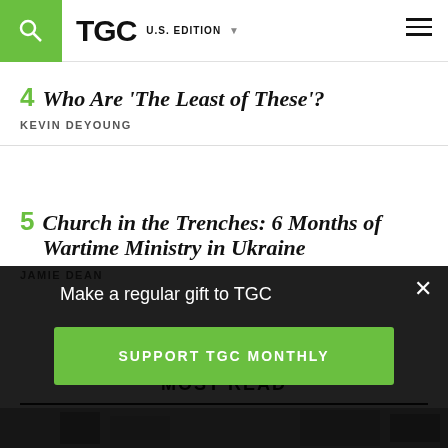TGC U.S. EDITION
4 Who Are 'The Least of These'?
KEVIN DEYOUNG
5 Church in the Trenches: 6 Months of Wartime Ministry in Ukraine
JAMIE DEAN
MOST READ
[Figure (photo): Grayscale image of a room interior, partially visible]
Make a regular gift to TGC
SUPPORT TGC MONTHLY